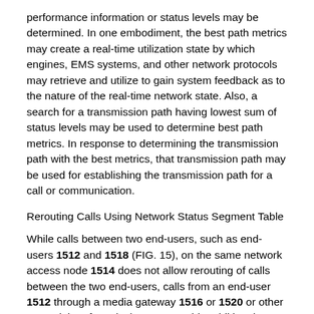performance information or status levels may be determined. In one embodiment, the best path metrics may create a real-time utilization state by which engines, EMS systems, and other network protocols may retrieve and utilize to gain system feedback as to the nature of the real-time network state. Also, a search for a transmission path having lowest sum of status levels may be used to determine best path metrics. In response to determining the transmission path with the best metrics, that transmission path may be used for establishing the transmission path for a call or communication.
Rerouting Calls Using Network Status Segment Table
While calls between two end-users, such as end-users 1512 and 1518 (FIG. 15), on the same network access node 1514 does not allow rerouting of calls between the two end-users, calls from an end-user 1512 through a media gateway 1516 or 1520 or other network interface device may provide additional options for alternate call routing destinations verses altering a CODEC selection. For a call between an end-user and a media gateway or other trunking device, there may be more than one route or